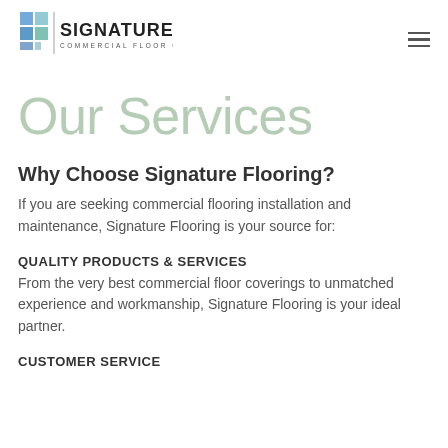[Figure (logo): Signature Commercial Floor Covering logo with tiled square graphic in blue/teal and company name]
Our Services
Why Choose Signature Flooring?
If you are seeking commercial flooring installation and maintenance, Signature Flooring is your source for:
QUALITY PRODUCTS & SERVICES
From the very best commercial floor coverings to unmatched experience and workmanship, Signature Flooring is your ideal partner.
CUSTOMER SERVICE